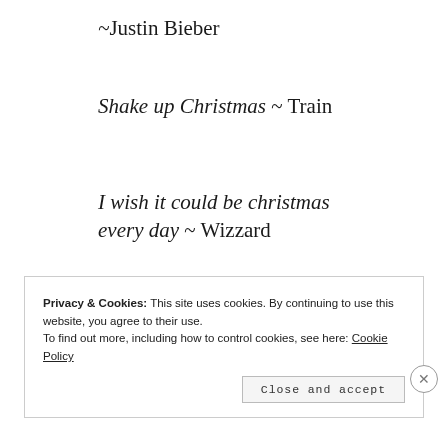~Justin Bieber
Shake up Christmas ~ Train
I wish it could be christmas every day ~ Wizzard
Lonely This Christmas ~Mud
Privacy & Cookies: This site uses cookies. By continuing to use this website, you agree to their use. To find out more, including how to control cookies, see here: Cookie Policy
Close and accept